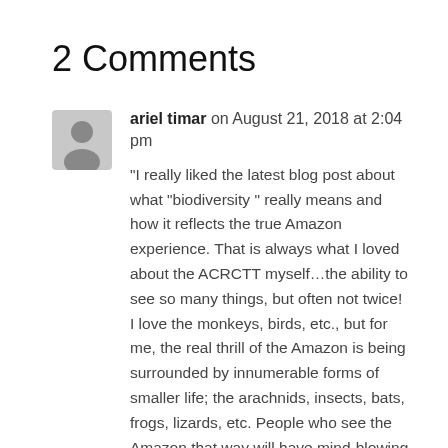2 Comments
ariel timar on August 21, 2018 at 2:04 pm
“I really liked the latest blog post about what “biodiversity ” really means and how it reflects the true Amazon experience. That is always what I loved about the ACRCTT myself…the ability to see so many things, but often not twice! I love the monkeys, birds, etc., but for me, the real thrill of the Amazon is being surrounded by innumerable forms of smaller life; the arachnids, insects, bats, frogs, lizards, etc. People who see the Amazon that way will have mind-blowing experiences every time” – Howie (From Facebook)